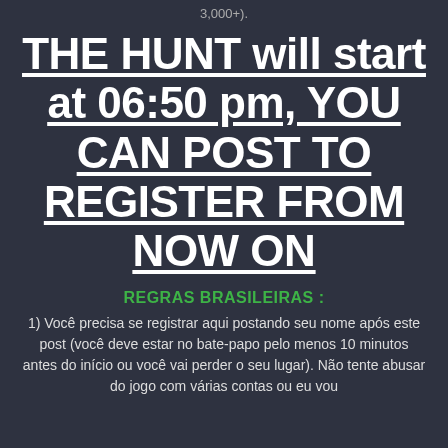3,000+).
THE HUNT will start at 06:50 pm, YOU CAN POST TO REGISTER FROM NOW ON
REGRAS BRASILEIRAS :
1) Você precisa se registrar aqui postando seu nome após este post (você deve estar no bate-papo pelo menos 10 minutos antes do início ou você vai perder o seu lugar). Não tente abusar do jogo com várias contas ou eu vou